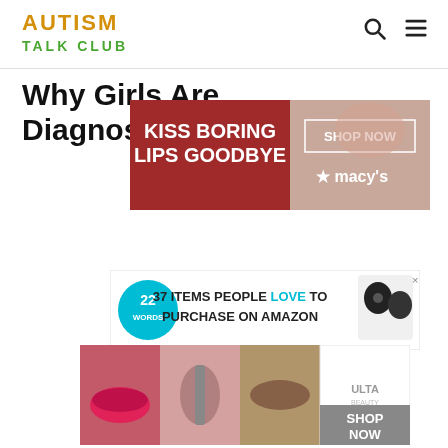AUTISM TALK CLUB
Why Girls Are Diagnosed Later Than Boys
[Figure (photo): Advertisement banner: Kiss Boring Lips Goodbye - SHOP NOW - macy's, featuring close-up of woman with red lips]
[Figure (photo): Advertisement: 37 ITEMS PEOPLE LOVE TO PURCHASE ON AMAZON - 22 Words logo with wireless earbuds image]
[Figure (photo): Advertisement: CLOSE button with ULTA SHOP NOW banner showing makeup images]